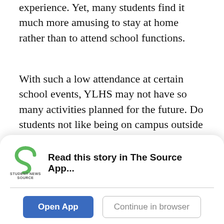experience. Yet, many students find it much more amusing to stay at home rather than to attend school functions.
With such a low attendance at certain school events, YLHS may not have so many activities planned for the future. Do students not like being on campus outside of school? Are school functions simply boring to the average student?
Students do not want to spend their time doing
[Figure (screenshot): App banner overlay with Student News Source logo, text 'Read this story in The Source App...', and two buttons: 'Open App' (blue) and 'Continue in browser' (outlined)]